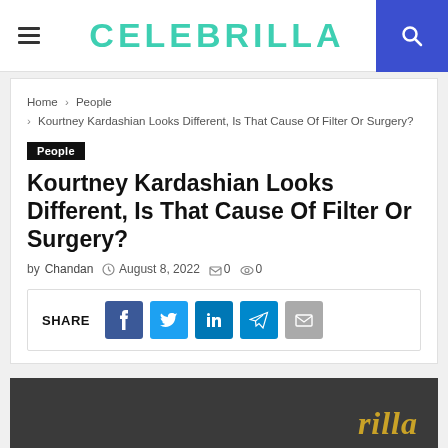CELEBRILLA
Home › People › Kourtney Kardashian Looks Different, Is That Cause Of Filter Or Surgery?
People
Kourtney Kardashian Looks Different, Is That Cause Of Filter Or Surgery?
by Chandan  August 8, 2022  0  0
SHARE
[Figure (screenshot): Dark background image with gold italic text watermark reading 'rilla' (partial logo/watermark)]